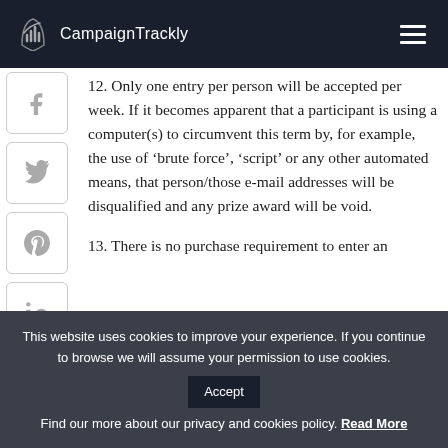CampaignTrackly
12. Only one entry per person will be accepted per week. If it becomes apparent that a participant is using a computer(s) to circumvent this term by, for example, the use of ‘brute force’, ‘script’ or any other automated means, that person/those e-mail addresses will be disqualified and any prize award will be void.
13. There is no purchase requirement to enter an
This website uses cookies to improve your experience. If you continue to browse we will assume your permission to use cookies. Accept Find our more about our privacy and cookies policy. Read More